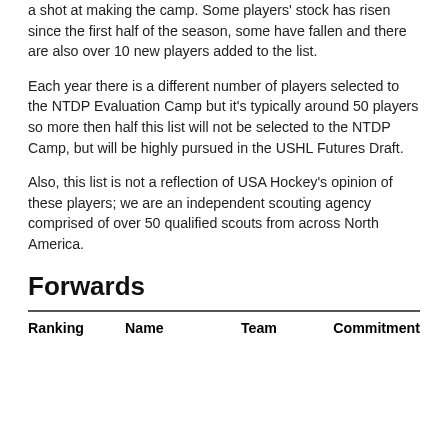a shot at making the camp. Some players' stock has risen since the first half of the season, some have fallen and there are also over 10 new players added to the list.
Each year there is a different number of players selected to the NTDP Evaluation Camp but it's typically around 50 players so more then half this list will not be selected to the NTDP Camp, but will be highly pursued in the USHL Futures Draft.
Also, this list is not a reflection of USA Hockey's opinion of these players; we are an independent scouting agency comprised of over 50 qualified scouts from across North America.
Forwards
| Ranking | Name | Team | Commitment |
| --- | --- | --- | --- |